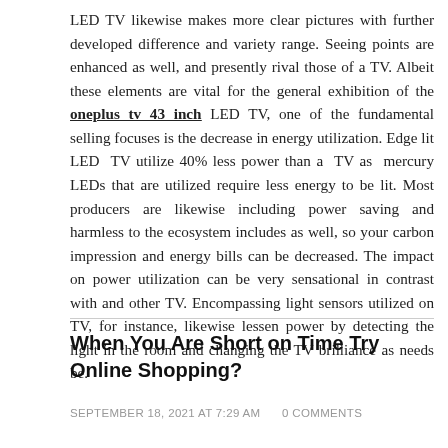LED TV likewise makes more clear pictures with further developed difference and variety range. Seeing points are enhanced as well, and presently rival those of a TV. Albeit these elements are vital for the general exhibition of the oneplus tv 43 inch LED TV, one of the fundamental selling focuses is the decrease in energy utilization. Edge lit LED TV utilize 40% less power than a TV as mercury LEDs that are utilized require less energy to be lit. Most producers are likewise including power saving and harmless to the ecosystem includes as well, so your carbon impression and energy bills can be decreased. The impact on power utilization can be very sensational in contrast with and other TV. Encompassing light sensors utilized on TV, for instance, likewise lessen power by detecting the light in the room and changing the TV brilliance as needs be.
When You Are Short on Time Try Online Shopping?
SEPTEMBER 18, 2021 AT 7:29 AM   0 COMMENTS